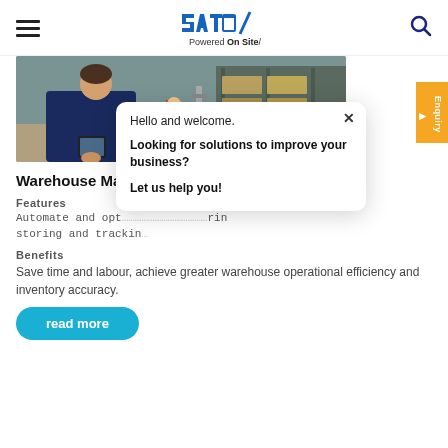SATO Powered On Site/ [navigation header with hamburger menu, logo, search icon]
[Figure (photo): Warehouse scene with a worker in dark blue polo shirt holding a tablet/device in the foreground, and a forklift with an operator in the background among stacked boxes/pallets.]
Warehouse Management Solution
Features
Automate and opt... ...ring storing and trackin...
Benefits
Save time and labour, achieve greater warehouse operational efficiency and inventory accuracy.
read more
[Figure (screenshot): Chat/popup overlay with text: 'Hello and welcome. Looking for solutions to improve your business? Let us help you!' with a close (x) button at top right.]